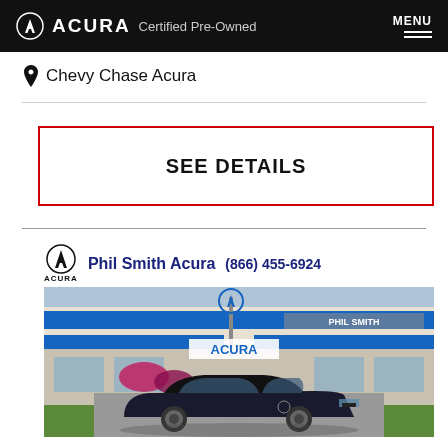ACURA Certified Pre-Owned | MENU
Chevy Chase Acura
SEE DETAILS
[Figure (photo): Phil Smith Acura dealership exterior with an Acura RDX SUV parked in front. Acura logo and signage visible. Phone number (866) 455-6924 shown.]